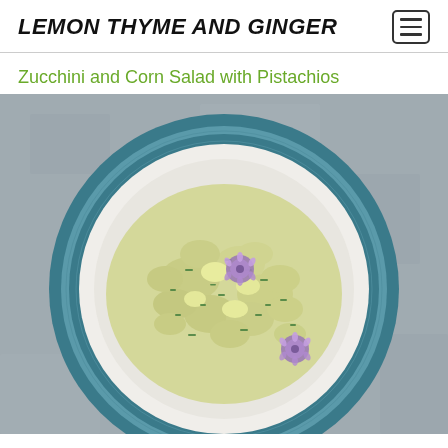LEMON THYME AND GINGER
Zucchini and Corn Salad with Pistachios
[Figure (photo): Overhead view of a zucchini and corn salad with pistachios served in a blue-rimmed white ceramic bowl, garnished with purple chive flowers and chopped chives, photographed on a grey stone surface.]